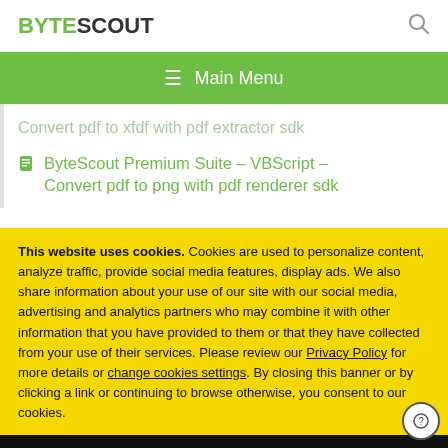BYTESCOUT [logo] [search icon]
≡  Main Menu
Convert pdf to xfdf with pdf extractor sdk
ByteScout Premium Suite – VBScript – Convert pdf to png with pdf renderer sdk
This website uses cookies. Cookies are used to personalize content, analyze traffic, provide social media features, display ads. We also share information about your use of our site with our social media, advertising and analytics partners who may combine it with other information that you have provided to them or that they have collected from your use of their services. Please review our Privacy Policy for more details or change cookies settings. By closing this banner or by clicking a link or continuing to browse otherwise, you consent to our cookies.
OK